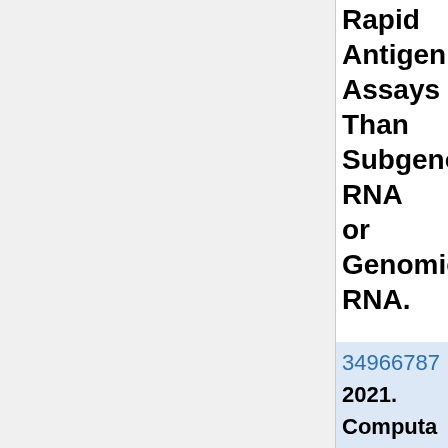Rapid Antigen Assays Than Subgenomic RNA or Genomic RNA.
34966787 2021. Computa